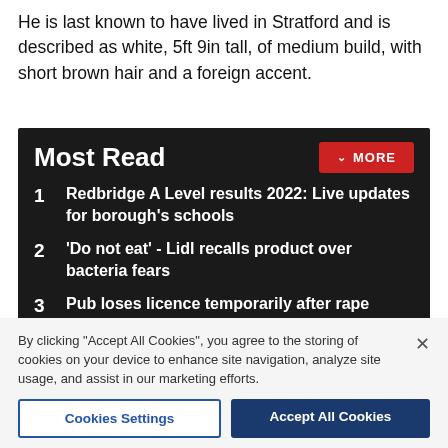He is last known to have lived in Stratford and is described as white, 5ft 9in tall, of medium build, with short brown hair and a foreign accent.
Most Read
1  Redbridge A Level results 2022: Live updates for borough's schools
2  'Do not eat' - Lidl recalls product over bacteria fears
3  Pub loses licence temporarily after rape allegation
Receive the top news, sport and things to do, sent to your
By clicking "Accept All Cookies", you agree to the storing of cookies on your device to enhance site navigation, analyze site usage, and assist in our marketing efforts.